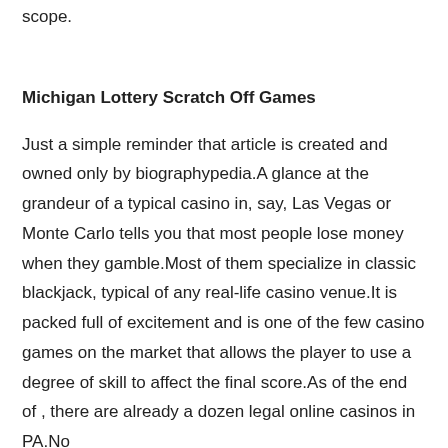scope.
Michigan Lottery Scratch Off Games
Just a simple reminder that article is created and owned only by biographypedia.A glance at the grandeur of a typical casino in, say, Las Vegas or Monte Carlo tells you that most people lose money when they gamble.Most of them specialize in classic blackjack, typical of any real-life casino venue.It is packed full of excitement and is one of the few casino games on the market that allows the player to use a degree of skill to affect the final score.As of the end of , there are already a dozen legal online casinos in PA.No